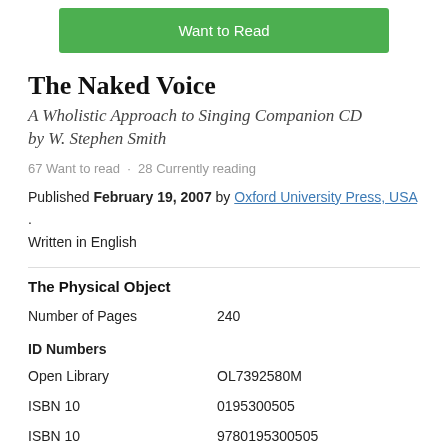[Figure (screenshot): Green 'Want to Read' button]
The Naked Voice
A Wholistic Approach to Singing Companion CD by W. Stephen Smith
67 Want to read · 28 Currently reading
Published February 19, 2007 by Oxford University Press, USA . Written in English
The Physical Object
| Number of Pages | 240 |
| ID Numbers |  |
| Open Library | OL7392580M |
| ISBN 10 | 0195300505 |
| ISBN 10 | 9780195300505 |